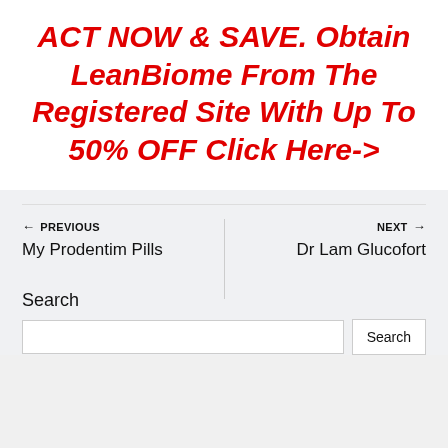ACT NOW & SAVE. Obtain LeanBiome From The Registered Site With Up To 50% OFF Click Here->
← PREVIOUS
My Prodentim Pills
NEXT →
Dr Lam Glucofort
Search